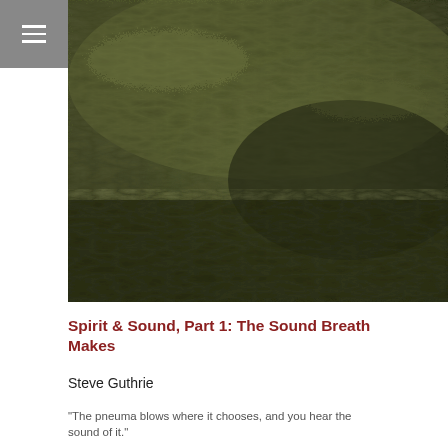[Figure (photo): Close-up photograph of dark olive-green furry or mossy texture, filling the header area of the page]
Spirit & Sound, Part 1: The Sound Breath Makes
Steve Guthrie
"The pneuma blows where it chooses, and you hear the sound of it."